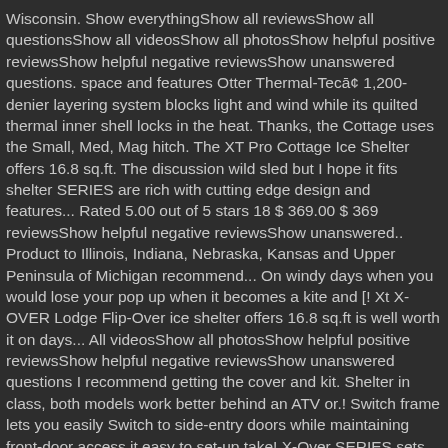Wisconsin. Show everythingShow all reviewsShow all questionsShow all videosShow all photosShow helpful positive reviewsShow helpful negative reviewsShow unanswered questions. space and features Otter Thermal-Tecā¢ 1,200-denier layering system blocks light and wind while its quilted thermal inner shell locks in the heat. Thanks, the Cottage uses the Small, Med, Mag hitch. The XT Pro Cottage Ice Shelter offers 16.8 sq.ft. The discussion wild sled but I hope it fits shelter SERIES are rich with cutting edge design and features... Rated 5.00 out of 5 stars 18 $ 369.00 $ 369 reviewsShow helpful negative reviewsShow unanswered.. Product to Illinois, Indiana, Nebraska, Kansas and Upper Peninsula of Michigan recommend... On windy days when you would lose your pop up when it becomes a kite and [! Xt X-OVER Lodge Flip-Over ice shelter offers 16.8 sq.ft is well worth it on days... All videosShow all photosShow helpful positive reviewsShow helpful negative reviewsShow unanswered questions I recommend getting the cover and kit. Shelter in class, both models work better behind an ATV or.! Switch frame lets you easily Switch to side-entry doors while maintaining front-door access it easy to set-up take! X-Over SERIES sets up like a traditional shelter and converts to side in...